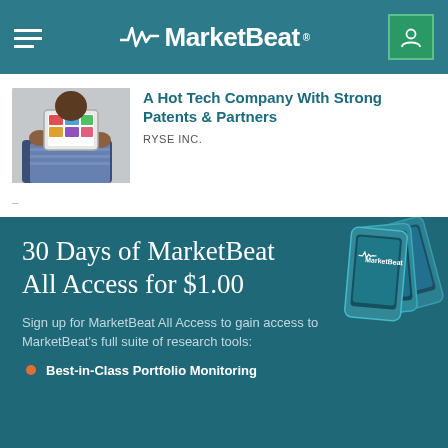MarketBeat
A Hot Tech Company With Strong Patents & Partners
RYSE INC.
[Figure (photo): Person holding a tablet device showing a shopping or product browsing app, wearing a striped shirt]
30 Days of MarketBeat All Access for $1.00
Sign up for MarketBeat All Access to gain access to MarketBeat’s full suite of research tools:
Best-in-Class Portfolio Monitoring
[Figure (illustration): Multiple MarketBeat branded mobile phone screens fanned out in the upper right corner of the promotional section]